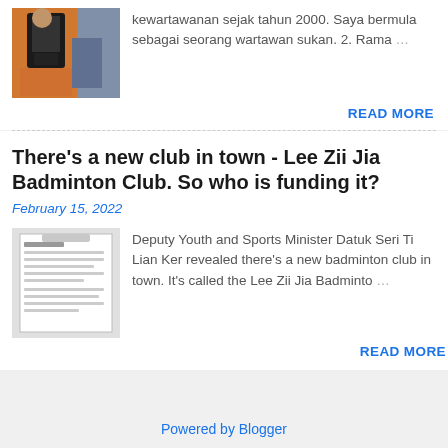[Figure (photo): Photo of a person wearing an orange vest with a camera bag from behind]
kewartawanan sejak tahun 2000. Saya bermula sebagai seorang wartawan sukan. 2. Rama ...
READ MORE
There's a new club in town - Lee Zii Jia Badminton Club. So who is funding it?
February 15, 2022
[Figure (photo): Photo of a printed document or letter on a white background]
Deputy Youth and Sports Minister Datuk Seri Ti Lian Ker revealed there's a new badminton club in town. It's called the Lee Zii Jia Badminto ...
READ MORE
Powered by Blogger